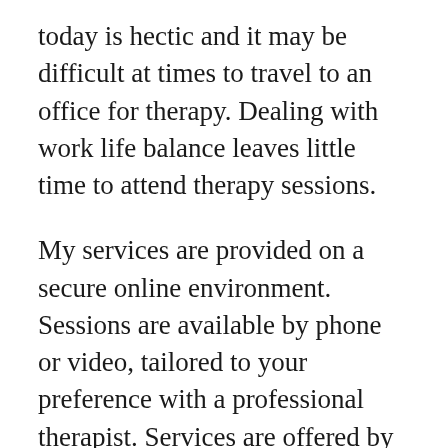today is hectic and it may be difficult at times to travel to an office for therapy. Dealing with work life balance leaves little time to attend therapy sessions.
My services are provided on a secure online environment. Sessions are available by phone or video, tailored to your preference with a professional therapist. Services are offered by high security encrypted video connections allowing for ethical and accountable counselling services. At all times high level of confidentiality is maintained. You will have proper access to support